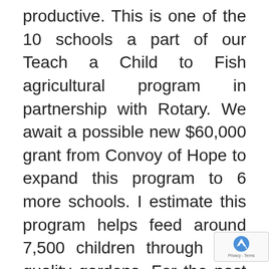productive. This is one of the 10 schools a part of our Teach a Child to Fish agricultural program in partnership with Rotary. We await a possible new $60,000 grant from Convoy of Hope to expand this program to 6 more schools. I estimate this program helps feed around 7,500 children through high quality gardens. For the past few years, I have been desiring to improve the quality of data we collect on children we assist. With the severe economic impact of the pandemic the last 15 months, we are finding more and more malnourished children and are rapidly expanding our feeding programs with lots